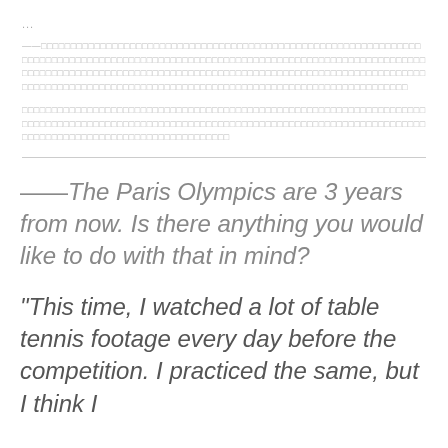...
——□□□□□□□□□□□□□□□□□□□□□□□□□□□□□□□□□□□□□□□□□□□□□□□□□□□□□□□□□□□□□□□□□□□□□□□□□□□□□□□□□□□□□□□□□□□□□□□□□□□□□□□□□□□□□□□□□□□□□□□□□□□□□□□□□□□□□□□□□□□□□□□□□□□□□□□□□□□□□□□□□□□□□□□□□□□□□□□□□□□□□□□□□□□□□□□□
□□□□□□□□□□□□□□□□□□□□□□□□□□□□□□□□□□□□□□□□□□□□□□□□□□□□□□□□□□□□□□□□□□□□□□□□□□□□□□□□□□□□□□□□□□□□□□□□□□□□□□□□□□□□□□□□□□□□□□□□□□□□□□□□□□□□□□□□□□□□□□□□□□□□□□□□□□□□□□□□□□□
——The Paris Olympics are 3 years from now. Is there anything you would like to do with that in mind?
"This time, I watched a lot of table tennis footage every day before the competition. I practiced the same, but I think I